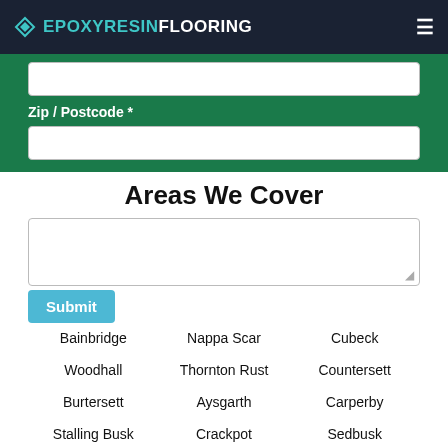[Figure (logo): EpoxyResinFlooring logo with diamond icon and hamburger menu on dark navy header]
Zip / Postcode *
Areas We Cover
Bainbridge
Nappa Scar
Cubeck
Woodhall
Thornton Rust
Countersett
Burtersett
Aysgarth
Carperby
Stalling Busk
Crackpot
Sedbusk
Thoralby
Marsett
Satron